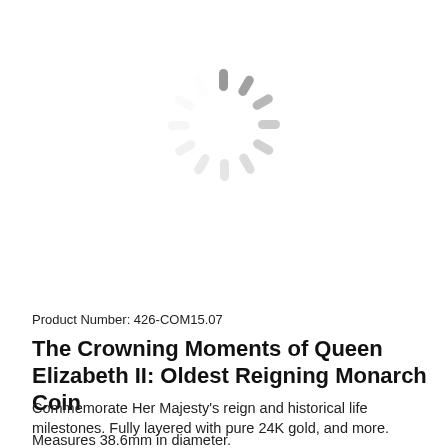[Figure (illustration): Loading spinner icon — gray radial lines arranged in a circle indicating a loading state, centered in the upper portion of the page]
Product Number: 426-COM15.07
The Crowning Moments of Queen Elizabeth II: Oldest Reigning Monarch Coin
Commemorate Her Majesty's reign and historical life milestones. Fully layered with pure 24K gold, and more.
Measures 38.6mm in diameter.